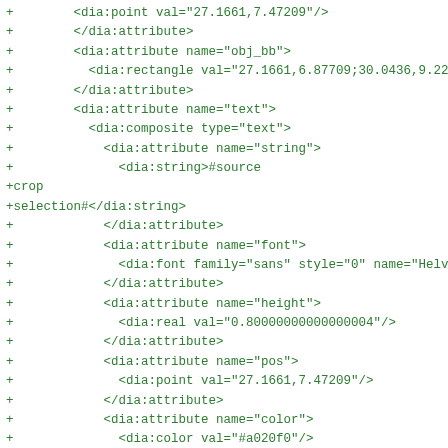+        <dia:point val="27.1661,7.47209"/>
+        </dia:attribute>
+        <dia:attribute name="obj_bb">
+          <dia:rectangle val="27.1661,6.87709;30.0436,9.22459"
+        </dia:attribute>
+        <dia:attribute name="text">
+          <dia:composite type="text">
+            <dia:attribute name="string">
+              <dia:string>#source
+crop
+selection#</dia:string>
+            </dia:attribute>
+            <dia:attribute name="font">
+              <dia:font family="sans" style="0" name="Helvetic
+            </dia:attribute>
+            <dia:attribute name="height">
+              <dia:real val="0.80000000000000004"/>
+            </dia:attribute>
+            <dia:attribute name="pos">
+              <dia:point val="27.1661,7.47209"/>
+            </dia:attribute>
+            <dia:attribute name="color">
+              <dia:color val="#a020f0"/>
+            </dia:attribute>
+            <dia:attribute name="alignment">
+              <dia:enum val="0"/>